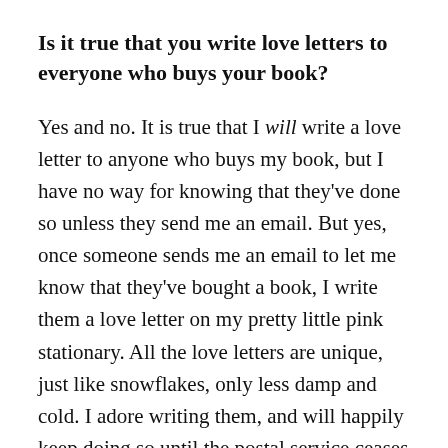Is it true that you write love letters to everyone who buys your book?
Yes and no. It is true that I will write a love letter to anyone who buys my book, but I have no way for knowing that they've done so unless they send me an email. But yes, once someone sends me an email to let me know that they've bought a book, I write them a love letter on my pretty little pink stationary. All the love letters are unique, just like snowflakes, only less damp and cold. I adore writing them, and will happily keep doing so until the postal service ceases to